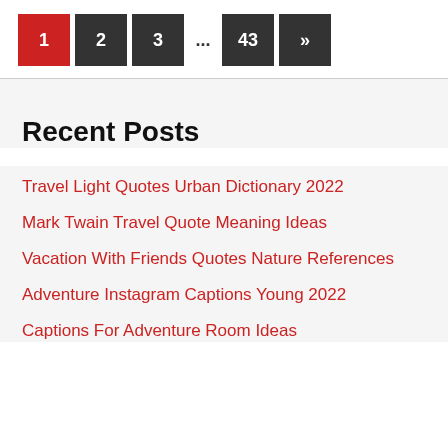1 2 3 ... 43 »
Recent Posts
Travel Light Quotes Urban Dictionary 2022
Mark Twain Travel Quote Meaning Ideas
Vacation With Friends Quotes Nature References
Adventure Instagram Captions Young 2022
Captions For Adventure Room Ideas